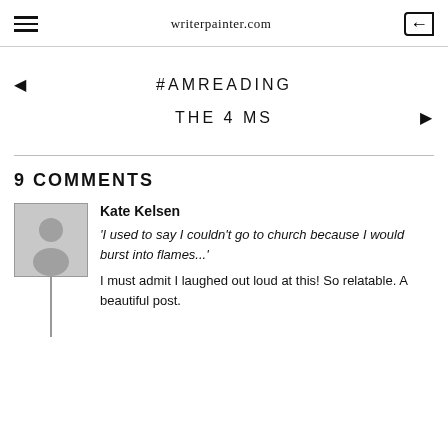writerpainter.com
#AMREADING
THE 4 MS
9 COMMENTS
Kate Kelsen
'I used to say I couldn't go to church because I would burst into flames...'
I must admit I laughed out loud at this! So relatable. A beautiful post.